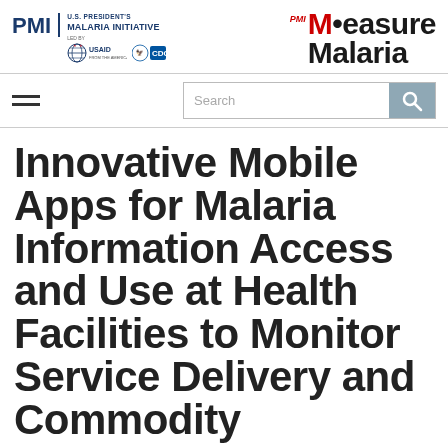PMI U.S. President's Malaria Initiative led by USAID CDC | PMI Measure Malaria
[Figure (logo): PMI U.S. President's Malaria Initiative logo with USAID and CDC emblems on the left; PMI Measure Malaria logo on the right]
[Figure (other): Navigation bar with hamburger menu and search bar]
Innovative Mobile Apps for Malaria Information Access and Use at Health Facilities to Monitor Service Delivery and Commodity Management Performance to PMI Measure Malaria